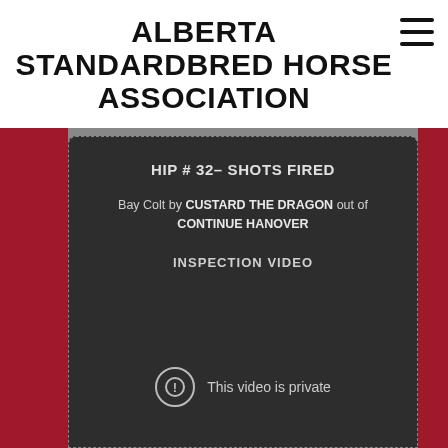ALBERTA STANDARDBRED HORSE ASSOCIATION
HIP # 32- SHOTS FIRED
Bay Colt by CUSTARD THE DRAGON out of CONTINUE HANOVER
INSPECTION VIDEO
This video is private